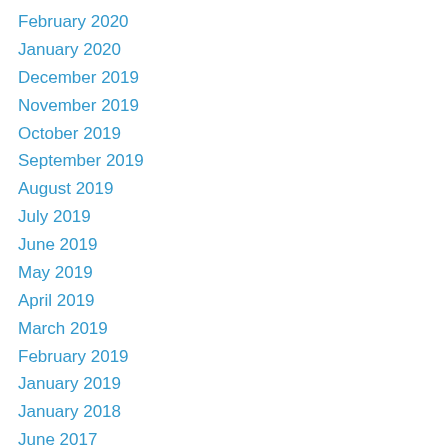February 2020
January 2020
December 2019
November 2019
October 2019
September 2019
August 2019
July 2019
June 2019
May 2019
April 2019
March 2019
February 2019
January 2019
January 2018
June 2017
May 2017
April 2017
March 2017
February 2017